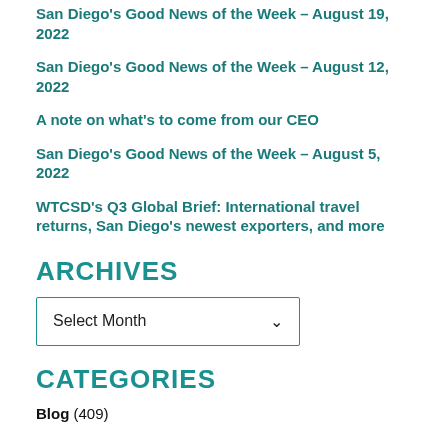San Diego's Good News of the Week – August 19, 2022
San Diego's Good News of the Week – August 12, 2022
A note on what's to come from our CEO
San Diego's Good News of the Week – August 5, 2022
WTCSD's Q3 Global Brief: International travel returns, San Diego's newest exporters, and more
ARCHIVES
Select Month
CATEGORIES
Blog (409)